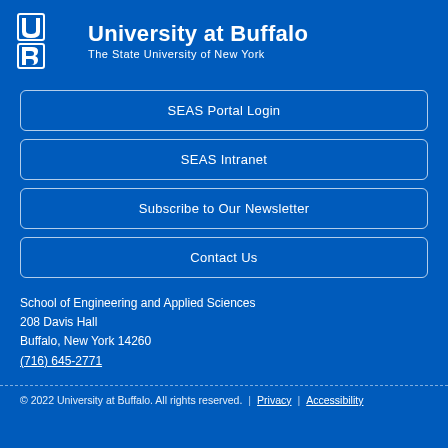[Figure (logo): University at Buffalo UB logo with bull head icon and text 'University at Buffalo, The State University of New York']
SEAS Portal Login
SEAS Intranet
Subscribe to Our Newsletter
Contact Us
School of Engineering and Applied Sciences
208 Davis Hall
Buffalo, New York 14260
(716) 645-2771
© 2022 University at Buffalo. All rights reserved.  |  Privacy  |  Accessibility